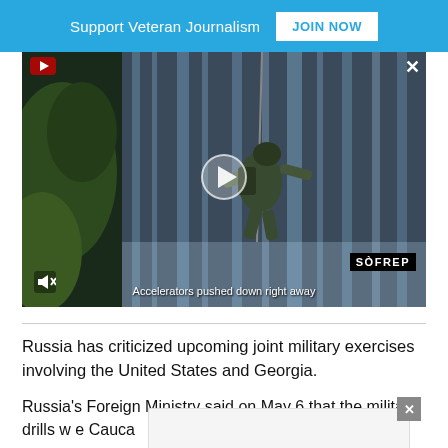Support Veteran Journalism   JOIN NOW
[Figure (screenshot): Video player showing a soldier rappelling near a waterfall, with SOFREP logo and subtitle 'Accelerators pushed down right away']
Russia has criticized upcoming joint military exercises involving the United States and Georgia.
Russia's Foreign Ministry said on May 6 that the military drills w[...] e Cauca[...]